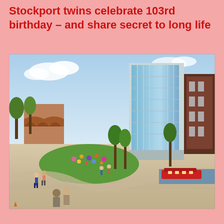Stockport twins celebrate 103rd birthday – and share secret to long life
[Figure (photo): Architectural rendering of a modern urban development in Stockport showing a tall glass and steel office building, public gardens with colourful flowers, pedestrian areas, trees, a canal with a red narrowboat, and people walking. Historic brick arched railway viaduct visible in the background.]